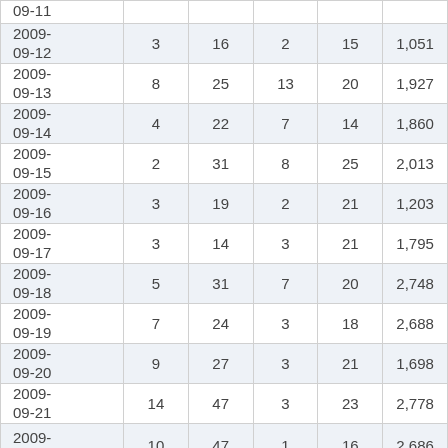| 09-11 |  |  |  |  |  |
| 2009-09-12 | 3 | 16 | 2 | 15 | 1,051 |
| 2009-09-13 | 8 | 25 | 13 | 20 | 1,927 |
| 2009-09-14 | 4 | 22 | 7 | 14 | 1,860 |
| 2009-09-15 | 2 | 31 | 8 | 25 | 2,013 |
| 2009-09-16 | 3 | 19 | 2 | 21 | 1,203 |
| 2009-09-17 | 3 | 14 | 3 | 21 | 1,795 |
| 2009-09-18 | 5 | 31 | 7 | 20 | 2,748 |
| 2009-09-19 | 7 | 24 | 3 | 18 | 2,688 |
| 2009-09-20 | 9 | 27 | 3 | 21 | 1,698 |
| 2009-09-21 | 14 | 47 | 3 | 23 | 2,778 |
| 2009-09-22 | 10 | 47 | 1 | 16 | 2,686 |